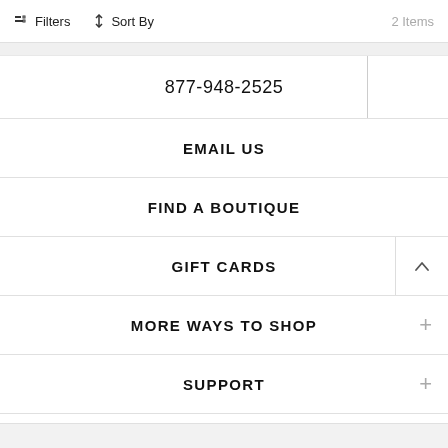Filters  Sort By  2 Items
877-948-2525
EMAIL US
FIND A BOUTIQUE
GIFT CARDS
MORE WAYS TO SHOP
SUPPORT
ABOUT US